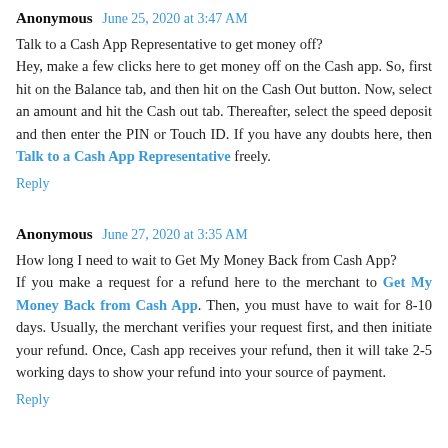Anonymous  June 25, 2020 at 3:47 AM
Talk to a Cash App Representative to get money off? Hey, make a few clicks here to get money off on the Cash app. So, first hit on the Balance tab, and then hit on the Cash Out button. Now, select an amount and hit the Cash out tab. Thereafter, select the speed deposit and then enter the PIN or Touch ID. If you have any doubts here, then Talk to a Cash App Representative freely.
Reply
Anonymous  June 27, 2020 at 3:35 AM
How long I need to wait to Get My Money Back from Cash App? If you make a request for a refund here to the merchant to Get My Money Back from Cash App. Then, you must have to wait for 8-10 days. Usually, the merchant verifies your request first, and then initiate your refund. Once, Cash app receives your refund, then it will take 2-5 working days to show your refund into your source of payment.
Reply